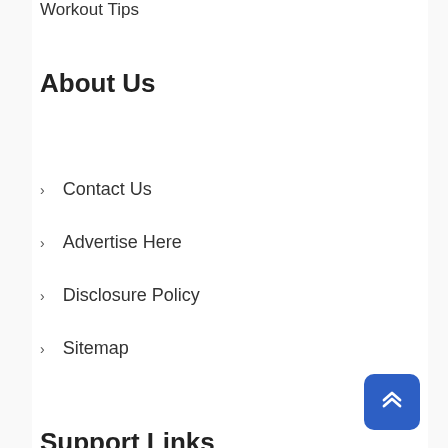Workout Tips
About Us
Contact Us
Advertise Here
Disclosure Policy
Sitemap
Support Links